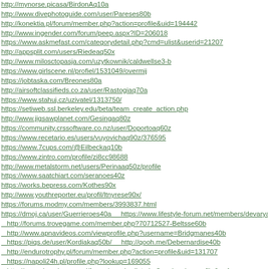http://mynorse.picasa/BirdonAq10a
http://www.divephotoguide.com/user/Pareses80b
http://konektia.pl/forum/member.php?action=profile&uid=194442
http://www.ingender.com/forum/peep.aspx?ID=206018
https://www.askmefast.com/categorydetail.php?cmd=ulist&userid=21207
http://appsplit.com/users/Riedeaq50x
http://www.milosctopasja.com/uzytkownik/caldwellse3-b
https://www.girlscene.nl/profiel/1531049/overmij
https://jobtaska.com/Breones80a
http://airsoftclassifieds.co.za/user/Rastogiaq70a
https://www.stahuj.cz/uzivatel/1313750/
https://setiweb.ssl.berkeley.edu/beta/team_create_action.php
http://www.jigsawplanet.com/Gesingaq80z
https://community.crssoftware.co.nz/user/Doportoaq60z
https://www.recetario.es/users/vuyovichaq90z/376595
https://www.7cups.com/@Eilbeckaq10b
https://www.zintro.com/profile/zi8cc98688
http://www.metalstorm.net/users/Perinaaq50z/profile
https://www.saatchiart.com/seranoes40z
https://works.bepress.com/Kothes90x
http://www.youthreporter.eu/profil/ltnyrese90x/
https://forums.modmy.com/members/3993837.html
https://dmoj.ca/user/Guerrieroes40a    https://www.lifestyle-forum.net/members/devaryaq20x.html
http://forums.trovegame.com/member.php?70712527-Beltsse60b
http://www.apnavideos.com/viewprofile.php?username=Bridgmanes40b
https://piqs.de/user/Kordiakaq50b/    http://qooh.me/Debernardise40b
http://endurotrophy.pl/forum/member.php?action=profile&uid=131707
https://napoli24h.pl/profile.php?lookup=169055
http://www.domyigaraze.pl/forum/memberlist.php?mode=viewprofile&u=1
https://www.spigotmc.org/members/ploogorso70x.1298092/